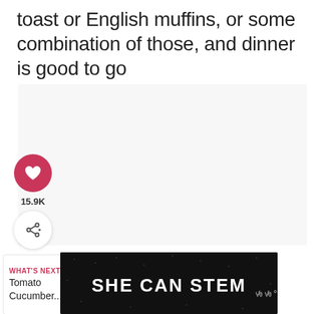toast or English muffins, or some combination of those, and dinner is good to go
[Figure (infographic): Social media sidebar with heart/like button showing 15.9K count and a share button]
[Figure (infographic): What's Next card showing Tomato Cucumber... with a bowl of salad image]
[Figure (infographic): SHE CAN STEM advertisement banner on dark background]